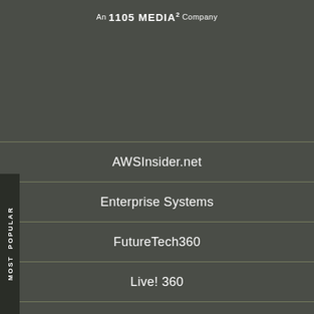An 1105 MEDIA² Company
AWSInsider.net
Enterprise Systems
FutureTech360
Live! 360
MCPmag.com
MedCloudInsider
Prophyts
Pure AI